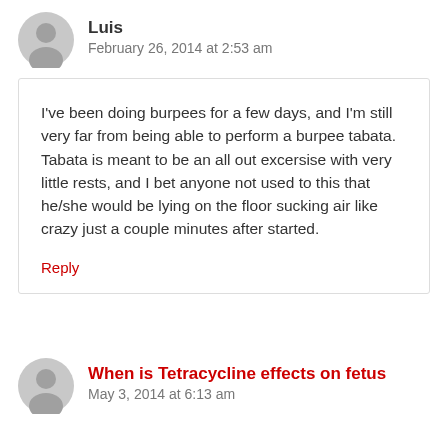Luis
February 26, 2014 at 2:53 am
I've been doing burpees for a few days, and I'm still very far from being able to perform a burpee tabata.
Tabata is meant to be an all out excersise with very little rests, and I bet anyone not used to this that he/she would be lying on the floor sucking air like crazy just a couple minutes after started.
Reply
When is Tetracycline effects on fetus
May 3, 2014 at 6:13 am